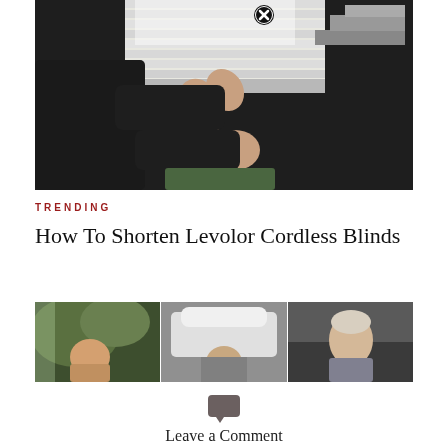[Figure (photo): Person in dark clothing adjusting or shortening cordless window blinds, hands visible reaching up to the blind mechanism, dark background]
TRENDING
How To Shorten Levolor Cordless Blinds
[Figure (photo): Three panel composite image showing three different people outdoors]
Leave a Comment